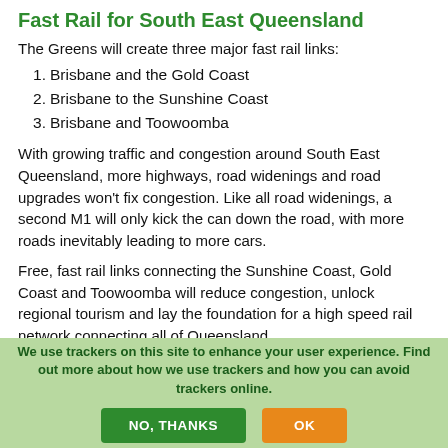Fast Rail for South East Queensland
The Greens will create three major fast rail links:
Brisbane and the Gold Coast
Brisbane to the Sunshine Coast
Brisbane and Toowoomba
With growing traffic and congestion around South East Queensland, more highways, road widenings and road upgrades won't fix congestion. Like all road widenings, a second M1 will only kick the can down the road, with more roads inevitably leading to more cars.
Free, fast rail links connecting the Sunshine Coast, Gold Coast and Toowoomba will reduce congestion, unlock regional tourism and lay the foundation for a high speed rail network connecting all of Queensland.
We use trackers on this site to enhance your user experience. Find out more about how we use trackers and how you can avoid trackers online.